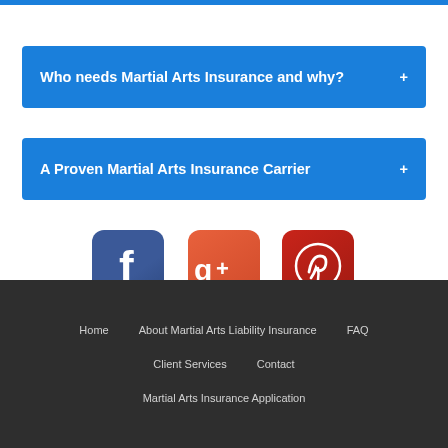Who needs Martial Arts Insurance and why?
A Proven Martial Arts Insurance Carrier
[Figure (illustration): Three social media icons: Facebook (blue), Google+ (orange-red), and Pinterest (dark red), each as rounded square app-style icons.]
Home   About Martial Arts Liability Insurance   FAQ   Client Services   Contact   Martial Arts Insurance Application